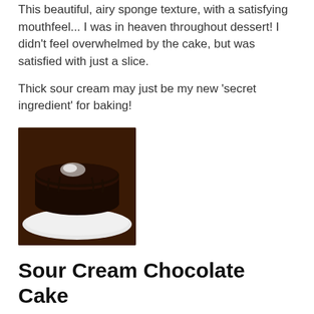This beautiful, airy sponge texture, with a satisfying mouthfeel... I was in heaven throughout dessert! I didn't feel overwhelmed by the cake, but was satisfied with just a slice.
Thick sour cream may just be my new ‘secret ingredient’ for baking!
[Figure (photo): A chocolate cake with dark glossy ganache topping on a white plate, viewed from slightly above. The cake has a light reflection on top.]
Sour Cream Chocolate Cake
Ingredients
...